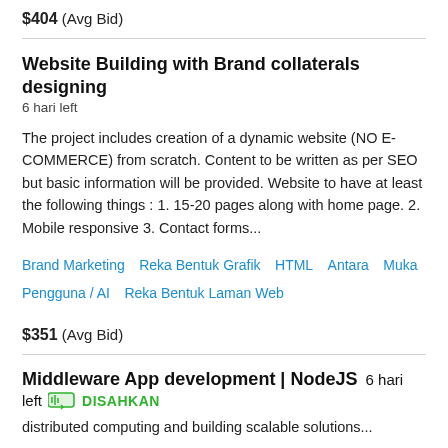$404  (Avg Bid)
Website Building with Brand collaterals designing
6 hari left
The project includes creation of a dynamic website (NO E-COMMERCE) from scratch. Content to be written as per SEO but basic information will be provided. Website to have at least the following things : 1. 15-20 pages along with home page. 2. Mobile responsive 3. Contact forms...
Brand Marketing   Reka Bentuk Grafik   HTML   Antara Muka Pengguna / AI   Reka Bentuk Laman Web
$351  (Avg Bid)
Middleware App development | NodeJS  6 hari left  DISAHKAN
distributed computing and building scalable solutions...